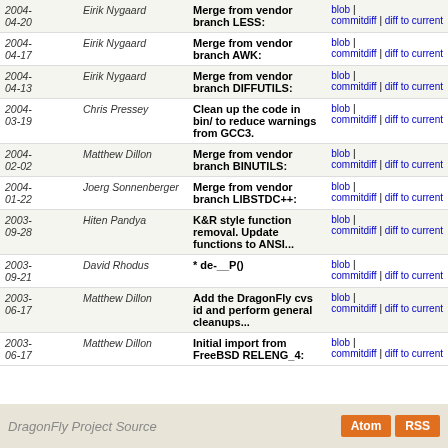| Date | Author | Message | Links |
| --- | --- | --- | --- |
| 2004-04-20 | Eirik Nygaard | Merge from vendor branch LESS: | blob | commitdiff | diff to current |
| 2004-04-17 | Eirik Nygaard | Merge from vendor branch AWK: | blob | commitdiff | diff to current |
| 2004-04-13 | Eirik Nygaard | Merge from vendor branch DIFFUTILS: | blob | commitdiff | diff to current |
| 2004-03-19 | Chris Pressey | Clean up the code in bin/ to reduce warnings from GCC3. | blob | commitdiff | diff to current |
| 2004-02-02 | Matthew Dillon | Merge from vendor branch BINUTILS: | blob | commitdiff | diff to current |
| 2004-01-22 | Joerg Sonnenberger | Merge from vendor branch LIBSTDC++: | blob | commitdiff | diff to current |
| 2003-09-28 | Hiten Pandya | K&R style function removal. Update functions to ANSI... | blob | commitdiff | diff to current |
| 2003-09-21 | David Rhodus | * de-__P() | blob | commitdiff | diff to current |
| 2003-06-17 | Matthew Dillon | Add the DragonFly cvs id and perform general cleanups... | blob | commitdiff | diff to current |
| 2003-06-17 | Matthew Dillon | Initial import from FreeBSD RELENG_4: | blob | commitdiff | diff to current |
DragonFly Project Source  Atom  RSS